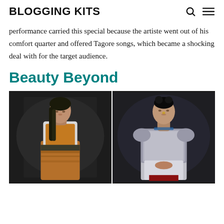BLOGGING KITS
performance carried this special because the artiste went out of his comfort quarter and offered Tagore songs, which became a shocking deal with for the target audience.
Beauty Beyond
[Figure (photo): Two portrait photographs side by side. Left: a young woman with long braided hair wearing a white shirt and orange-gold vest/skirt with a plaid belt, set against a dark background. Right: a young woman with hair styled up wearing a grey/silver shimmery top and light skirt with a red accent, set against a dark grey background.]